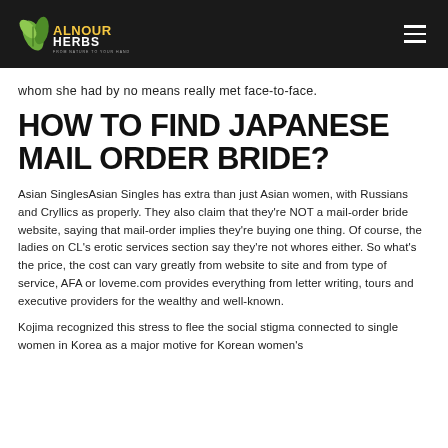ALNOUR HERBS
whom she had by no means really met face-to-face.
HOW TO FIND JAPANESE MAIL ORDER BRIDE?
Asian SinglesAsian Singles has extra than just Asian women, with Russians and Cryllics as properly. They also claim that they're NOT a mail-order bride website, saying that mail-order implies they're buying one thing. Of course, the ladies on CL's erotic services section say they're not whores either. So what's the price, the cost can vary greatly from website to site and from type of service, AFA or loveme.com provides everything from letter writing, tours and executive providers for the wealthy and well-known.
Kojima recognized this stress to flee the social stigma connected to single women in Korea as a major motive for Korean women's